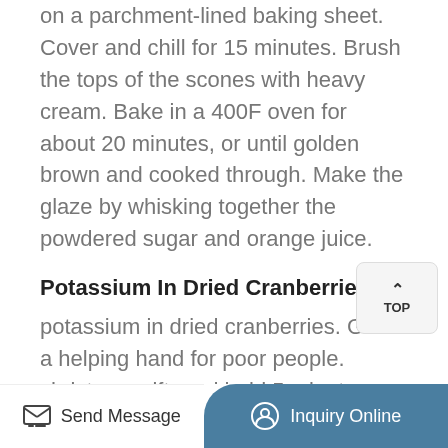on a parchment-lined baking sheet. Cover and chill for 15 minutes. Brush the tops of the scones with heavy cream. Bake in a 400F oven for about 20 minutes, or until golden brown and cooked through. Make the glaze by whisking together the powdered sugar and orange juice.
Potassium In Dried Cranberries -
potassium in dried cranberries. Give a helping hand for poor people. christmas gift card hold 5 minute peanut butter fudge you never knew hieroglyphics
Easy Ways Of Drying Cranberries At Home - DryingAllFoods
Put the cranberries in the oven and let them dry
Send Message   Inquiry Online